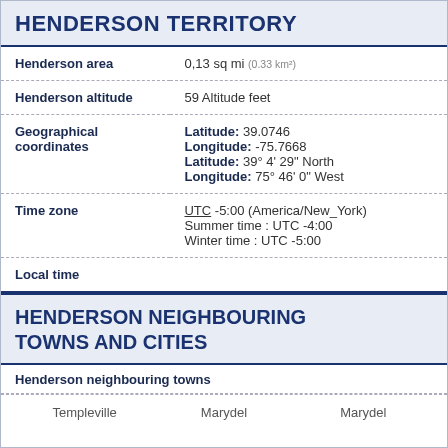HENDERSON TERRITORY
| Field | Value |
| --- | --- |
| Henderson area | 0,13 sq mi (0.33 km²) |
| Henderson altitude | 59 Altitude feet |
| Geographical coordinates | Latitude: 39.0746
Longitude: -75.7668
Latitude: 39° 4' 29" North
Longitude: 75° 46' 0" West |
| Time zone | UTC -5:00 (America/New_York)
Summer time : UTC -4:00
Winter time : UTC -5:00 |
| Local time |  |
HENDERSON NEIGHBOURING TOWNS AND CITIES
Henderson neighbouring towns
Templeville   Marydel   Marydel